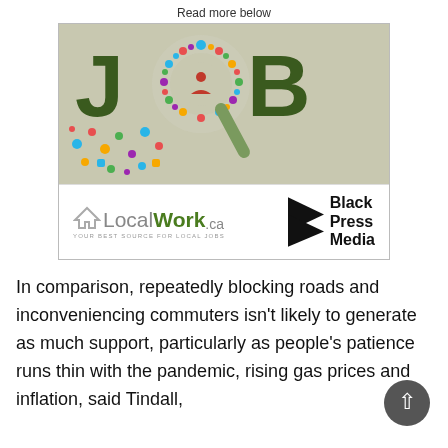Read more below
[Figure (illustration): Advertisement image for LocalWork.ca and Black Press Media featuring the word JOB with a magnifying glass icon over the O, colorful social/work icons forming the magnifier circle, on a beige background. Bottom section shows LocalWork.ca logo with tagline YOUR BEST SOURCE FOR LOCAL JOBS and Black Press Media logo.]
In comparison, repeatedly blocking roads and inconveniencing commuters isn’t likely to generate as much support, particularly as people’s patience runs thin with the pandemic, rising gas prices and inflation, said Tindall,